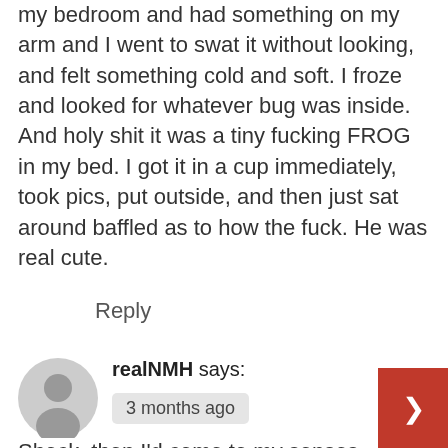my bedroom and had something on my arm and I went to swat it without looking, and felt something cold and soft. I froze and looked for whatever bug was inside. And holy shit it was a tiny fucking FROG in my bed. I got it in a cup immediately, took pics, put outside, and then just sat around baffled as to how the fuck. He was real cute.
Reply
realNMH says:
3 months ago
Shock, then I'd come to my senses and find it cute, then I'd bring it safely outside.